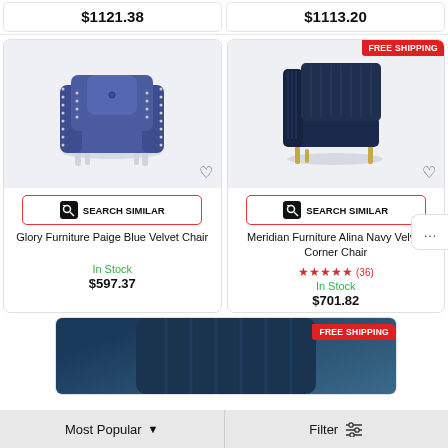$1121.38
$1113.20
[Figure (photo): Glory Furniture Paige Blue Velvet Chair - blue velvet armchair with nailhead trim and pillow]
SEARCH SIMILAR
Glory Furniture Paige Blue Velvet Chair
In Stock
$597.37
FREE SHIPPING
[Figure (photo): Meridian Furniture Alina Navy Velvet Corner Chair - navy velvet corner chair with gold legs]
SEARCH SIMILAR
Meridian Furniture Alina Navy Velvet Corner Chair
★★★★★ (36)
In Stock
$701.82
FREE SHIPPING
[Figure (photo): Partial image of a navy/dark teal velvet chair - bottom of page]
Most Popular
Filter